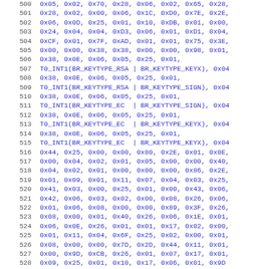Code listing lines 500-531 showing hex byte array data and T0_INT1 macro calls with BR_KEYTYPE constants
| line | code |
| --- | --- |
| 500 | 0x05, 0x02, 0x70, 0x28, 0x06, 0x02, 0x65, 0x28, |
| 501 | 0x28, 0x02, 0x00, 0x06, 0x1C, 0xD0, 0x7E, 0x2E, |
| 502 | 0x06, 0x0D, 0x25, 0x01, 0x10, 0xDB, 0x01, 0x00, |
| 503 | 0x24, 0x04, 0x04, 0xD3, 0x06, 0x01, 0xD1, 0x04, |
| 504 | 0xCF, 0x01, 0x7F, 0xAD, 0x01, 0x01, 0x75, 0x3E, |
| 505 | 0x00, 0x00, 0x38, 0x38, 0x00, 0x00, 0x98, 0x01, |
| 506 | 0x38, 0x0E, 0x06, 0x05, 0x25, 0x01, |
| 507 | T0_INT1(BR_KEYTYPE_RSA | BR_KEYTYPE_KEYX), 0x04 |
| 508 | 0x38, 0x0E, 0x06, 0x05, 0x25, 0x01, |
| 509 | T0_INT1(BR_KEYTYPE_RSA | BR_KEYTYPE_SIGN), 0x04 |
| 510 | 0x38, 0x0E, 0x06, 0x05, 0x25, 0x01, |
| 511 | T0_INT1(BR_KEYTYPE_EC  | BR_KEYTYPE_SIGN), 0x04 |
| 512 | 0x38, 0x0E, 0x06, 0x05, 0x25, 0x01, |
| 513 | T0_INT1(BR_KEYTYPE_EC  | BR_KEYTYPE_KEYX), 0x04 |
| 514 | 0x38, 0x0E, 0x06, 0x05, 0x25, 0x01, |
| 515 | T0_INT1(BR_KEYTYPE_EC  | BR_KEYTYPE_KEYX), 0x04 |
| 516 | 0x44, 0x25, 0x00, 0x00, 0x80, 0x2E, 0x01, 0x0E, |
| 517 | 0x00, 0x04, 0x02, 0x01, 0x05, 0x00, 0x00, 0x40, |
| 518 | 0x04, 0x02, 0x01, 0x00, 0x00, 0x00, 0x86, 0x2E, |
| 519 | 0x01, 0x09, 0x01, 0x11, 0x07, 0x04, 0x03, 0x25, |
| 520 | 0x41, 0x03, 0x00, 0x25, 0x01, 0x00, 0x43, 0x06, |
| 521 | 0x42, 0x06, 0x03, 0x02, 0x00, 0x08, 0x26, 0x06, |
| 522 | 0x01, 0x06, 0x08, 0x00, 0x00, 0x89, 0x3F, 0x26, |
| 523 | 0x08, 0x00, 0x01, 0x40, 0x26, 0x06, 0x1E, 0x01, |
| 524 | 0x06, 0x0E, 0x26, 0x01, 0x01, 0x17, 0x02, 0x00, |
| 525 | 0x01, 0x11, 0x04, 0x6F, 0x25, 0x02, 0x00, 0x01, |
| 526 | 0x08, 0x00, 0x00, 0x7D, 0x2D, 0x44, 0x11, 0x01, |
| 527 | 0x00, 0x9D, 0xCB, 0x26, 0x01, 0x07, 0x17, 0x01, |
| 528 | 0x09, 0x25, 0x01, 0x10, 0x17, 0x06, 0x01, 0x9D |
| 529 | 0x38, 0x0E, 0x06, 0x2C, 0x25, 0x25, 0x01, 0x00, |
| 530 | 0x2E, 0x01, 0x01, 0x0E, 0x01, 0x01, 0xA6, 0x37, |
| 531 | 0x36, 0x06, 0x04, 0xCB, 0x25, 0x04, 0x78, 0x04, |